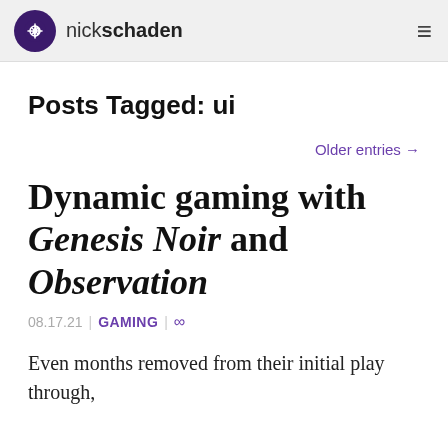nickschaden
Posts Tagged: ui
Older entries →
Dynamic gaming with Genesis Noir and Observation
08.17.21 | GAMING | ∞
Even months removed from their initial play through,